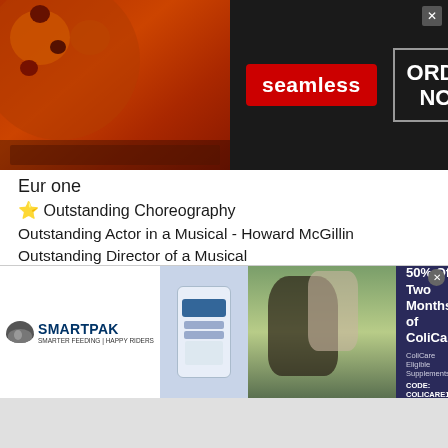[Figure (screenshot): Seamless food delivery advertisement banner with pizza image, Seamless logo, and ORDER NOW button]
Eur one
⭐ Outstanding Choreography
Outstanding Actor in a Musical - Howard McGillin
Outstanding Director of a Musical
Award Outstanding Featured Actor in a Musical - Anthony Heald
Award Outstanding Featured Actor in a Musical - Bill McCutcheon
Outstanding Orchestration
Outstanding Costume Design
Outstanding Lighting Design
Outstanding Set Design
[Figure (screenshot): SmartPak advertisement with horse supplement product and ColiCare promotion offering 50% off two months, code COLICARE10]